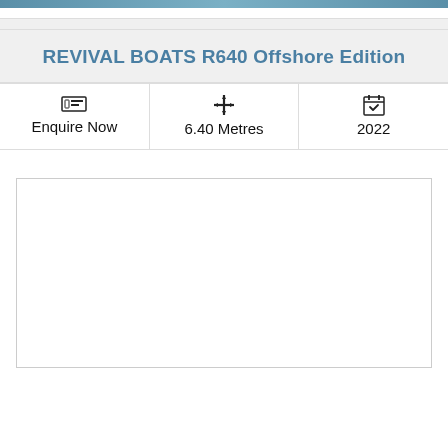[Figure (photo): Top strip showing partial boat image in blue/teal tones]
REVIVAL BOATS R640 Offshore Edition
| Enquire Now | 6.40 Metres | 2022 |
| --- | --- | --- |
[Figure (photo): White empty card/panel below the info row]